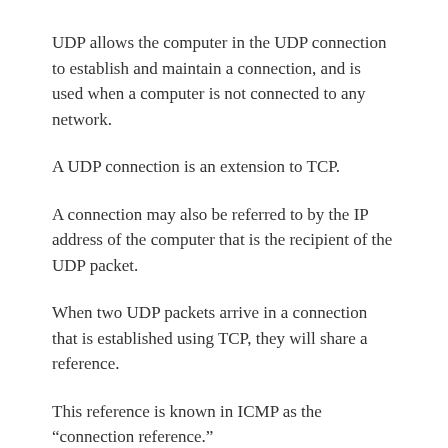UDP allows the computer in the UDP connection to establish and maintain a connection, and is used when a computer is not connected to any network.
A UDP connection is an extension to TCP.
A connection may also be referred to by the IP address of the computer that is the recipient of the UDP packet.
When two UDP packets arrive in a connection that is established using TCP, they will share a reference.
This reference is known in ICMP as the “connection reference.”
This connection reference will contain the IP of the client and the IP Address of the server.